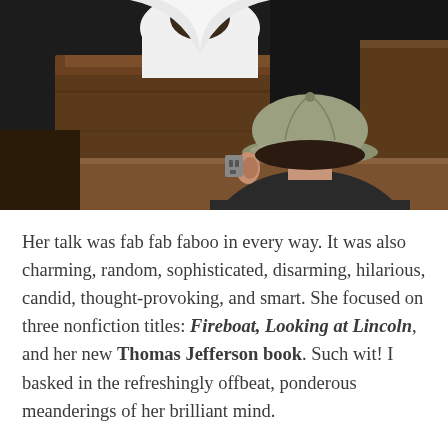[Figure (photo): A photograph taken from behind showing a person in a ball cap (olive/grey) seated in an auditorium or lecture hall, facing a speaker at a podium. The speaker is visible from the back/side, wearing a white top, behind a wooden podium. The scene is dimly lit with dark surroundings.]
Her talk was fab fab faboo in every way. It was also charming, random, sophisticated, disarming, hilarious, candid, thought-provoking, and smart. She focused on three nonfiction titles: Fireboat, Looking at Lincoln, and her new Thomas Jefferson book. Such wit! I basked in the refreshingly offbeat, ponderous meanderings of her brilliant mind.